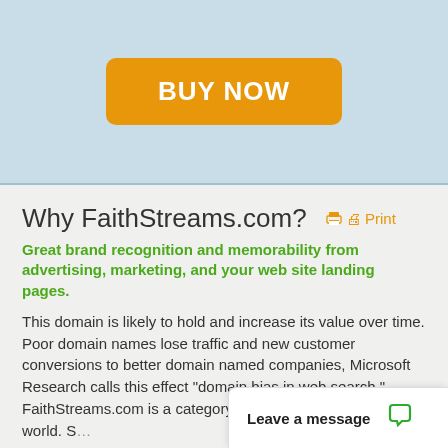[Figure (other): Light blue banner with orange BUY NOW button]
Why FaithStreams.com? Print
Great brand recognition and memorability from advertising, marketing, and your web site landing pages.
This domain is likely to hold and increase its value over time. Poor domain names lose traffic and new customer conversions to better domain named companies, Microsoft Research calls this effect "domain bias in web search." FaithStreams.com is a category killer doma... around the world. Su...
Leave a message